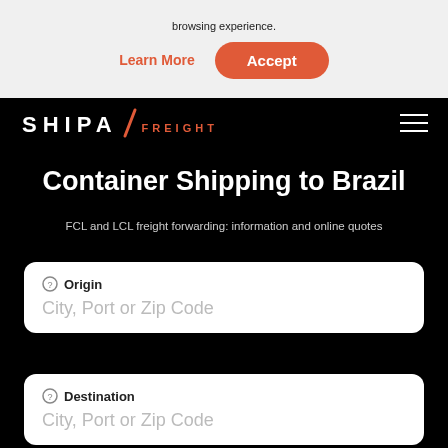browsing experience.
Learn More
Accept
[Figure (logo): Shipa Freight logo — white text SHIPA with orange slash and orange FREIGHT text on black background]
Container Shipping to Brazil
FCL and LCL freight forwarding: information and online quotes
Origin
City, Port or Zip Code
Destination
City, Port or Zip Code